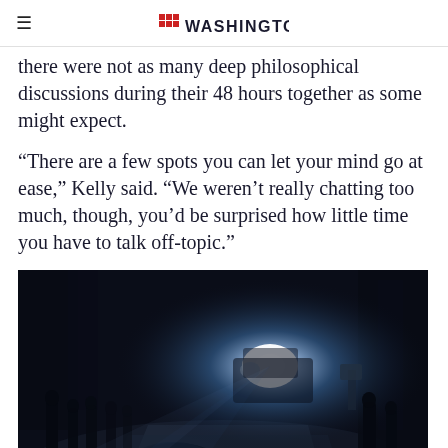Washington (logo)
there were not as many deep philosophical discussions during their 48 hours together as some might expect.
“There are a few spots you can let your mind go at ease,” Kelly said. “We weren’t really chatting too much, though, you’d be surprised how little time you have to talk off-topic.”
[Figure (photo): Nighttime outdoor scene with people standing on a dark forest path lit by vehicle headlights, silhouettes visible against bright light beam]